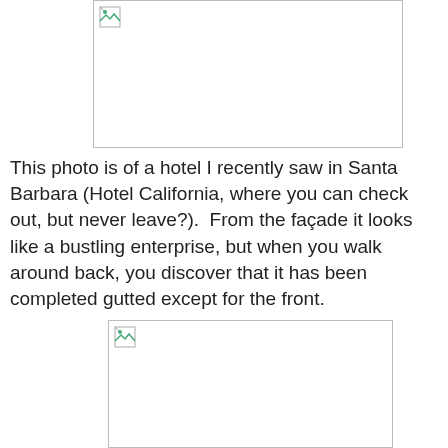[Figure (photo): Photo placeholder (top) — hotel image, broken/missing image icon visible in upper left corner of frame]
This photo is of a hotel I recently saw in Santa Barbara (Hotel California, where you can check out, but never leave?).  From the façade it looks like a bustling enterprise, but when you walk around back, you discover that it has been completed gutted except for the front.
[Figure (photo): Photo placeholder (bottom) — hotel image, broken/missing image icon visible in upper left corner of frame]